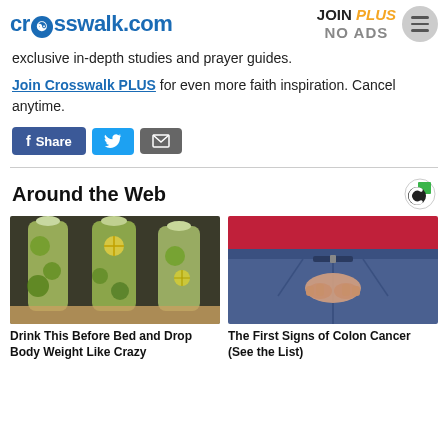crosswalk.com — JOIN PLUS NO ADS
exclusive in-depth studies and prayer guides.
Join Crosswalk PLUS for even more faith inspiration. Cancel anytime.
[Figure (screenshot): Share buttons: Facebook Share, Twitter, Email]
Around the Web
[Figure (photo): Photo of water bottles filled with cucumber, lemon, and herbs]
Drink This Before Bed and Drop Body Weight Like Crazy
[Figure (photo): Photo of a person in jeans and red top from behind, hands clasped in front]
The First Signs of Colon Cancer (See the List)